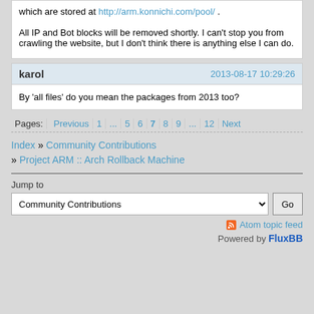which are stored at http://arm.konnichi.com/pool/ .
All IP and Bot blocks will be removed shortly. I can't stop you from crawling the website, but I don't think there is anything else I can do.
karol	2013-08-17 10:29:26
By 'all files' do you mean the packages from 2013 too?
Pages: Previous | 1 | ... | 5 | 6 | 7 | 8 | 9 | ... | 12 | Next
Index » Community Contributions » Project ARM :: Arch Rollback Machine
Jump to
Community Contributions
Atom topic feed
Powered by FluxBB